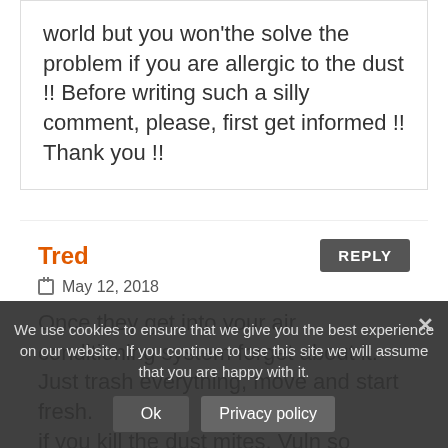world but you won'the solve the problem if you are allergic to the dust !! Before writing such a silly comment, please, first get informed !! Thank you !!
Tred
May 12, 2018
Once they get into your air conditioning system forget about it. Just trash everything, move and start fresh. if you kill the dust mites, Vuln so react. That's why [...]d, it's good at cleaning the feces up.
We use cookies to ensure that we give you the best experience on our website. If you continue to use this site we will assume that you are happy with it.
Ok
Privacy policy